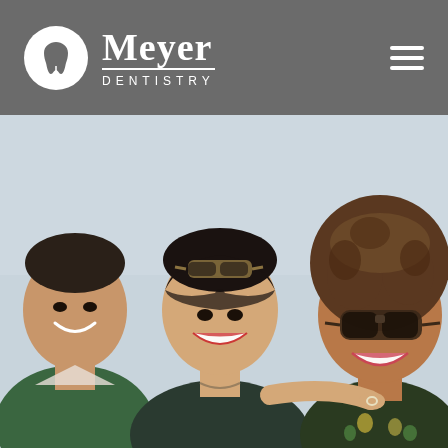[Figure (logo): Meyer Dentistry logo: white circle with tooth icon, 'Meyer' in large serif font with 'DENTISTRY' in small caps beneath, and hamburger menu icon on the right, all on dark gray background]
[Figure (photo): Three smiling young adults laughing together outdoors. Man on left in green jacket, woman in middle with sunglasses on head, woman on right wearing large sunglasses and floral top. Light blue sky background.]